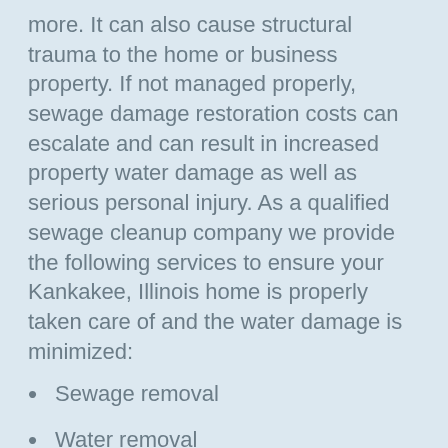more. It can also cause structural trauma to the home or business property. If not managed properly, sewage damage restoration costs can escalate and can result in increased property water damage as well as serious personal injury. As a qualified sewage cleanup company we provide the following services to ensure your Kankakee, Illinois home is properly taken care of and the water damage is minimized:
Sewage removal
Water removal
Dry out
Decontamination
Sanitation
Odor and air quality control
Removal of any damaged items for restoration
Insurance billing